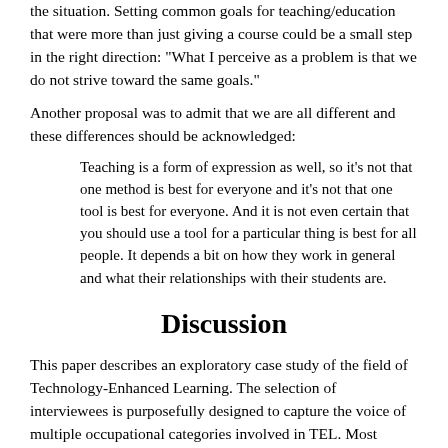the situation. Setting common goals for teaching/education that were more than just giving a course could be a small step in the right direction: "What I perceive as a problem is that we do not strive toward the same goals."
Another proposal was to admit that we are all different and these differences should be acknowledged:
Teaching is a form of expression as well, so it's not that one method is best for everyone and it's not that one tool is best for everyone. And it is not even certain that you should use a tool for a particular thing is best for all people. It depends a bit on how they work in general and what their relationships with their students are.
Discussion
This paper describes an exploratory case study of the field of Technology-Enhanced Learning. The selection of interviewees is purposefully designed to capture the voice of multiple occupational categories involved in TEL. Most interesting about the data from the exploratory case about the integration of TEL in university teaching is that the discussion landed more on infrastructure and technology than learning itself.